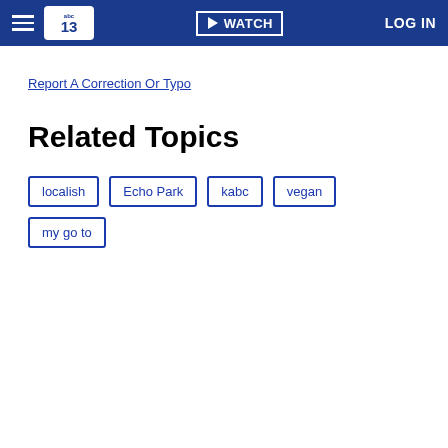abc13 | WATCH | LOG IN
Report A Correction Or Typo
Related Topics
localish
Echo Park
kabc
vegan
my go to